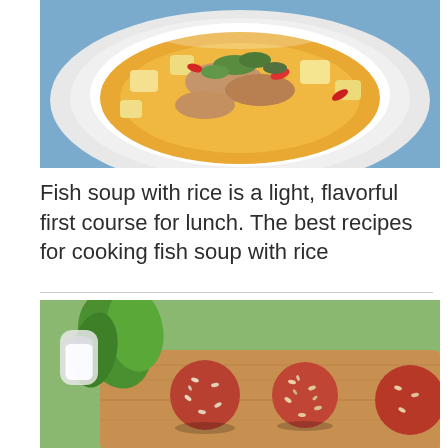[Figure (photo): A white bowl of fish soup with rice, potatoes, red peppers, and herbs in a golden broth, served on a white plate with a blue background]
Fish soup with rice is a light, flavorful first course for lunch. The best recipes for cooking fish soup with rice
[Figure (photo): Raw meatballs with rice on a wooden board, with lettuce and a glass creamer of white sauce in the background]